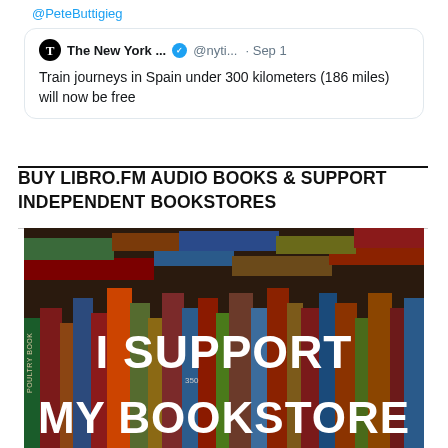@PeteButtigieg
[Figure (screenshot): Embedded tweet from The New York Times (@nyti...) dated Sep 1: 'Train journeys in Spain under 300 kilometers (186 miles) will now be free']
BUY LIBRO.FM AUDIO BOOKS & SUPPORT INDEPENDENT BOOKSTORES
[Figure (photo): Photo of stacked books with overlaid bold white text reading 'I SUPPORT MY BOOKSTORE']